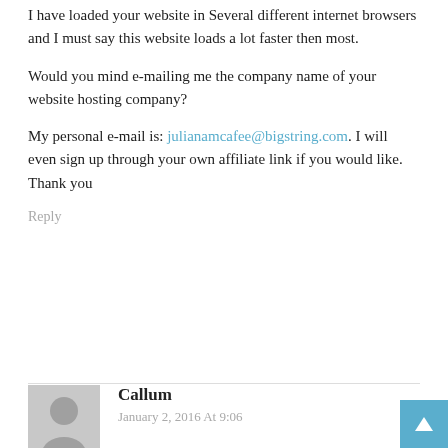I have loaded your website in Several different internet browsers and I must say this website loads a lot faster then most.
Would you mind e-mailing me the company name of your website hosting company?
My personal e-mail is: julianamcafee@bigstring.com. I will
even sign up through your own affiliate link if you would like.
Thank you
Reply
Callum
January 2, 2016 At 9:06
Hey there! My wife and I frequently publish guest articles or
blog posts for other site owners to help gain exposure to our work,